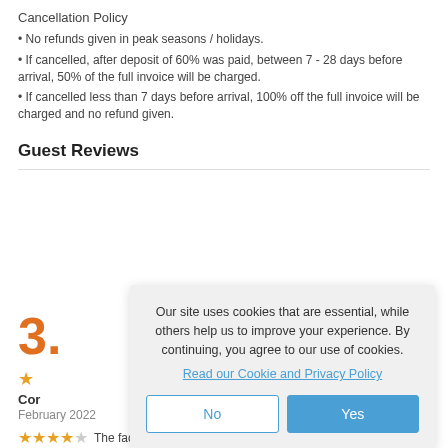Cancellation Policy
No refunds given in peak seasons / holidays.
If cancelled, after deposit of 60% was paid, between 7 - 28 days before arrival, 50% of the full invoice will be charged.
If cancelled less than 7 days before arrival, 100% off the full invoice will be charged and no refund given.
Guest Reviews
3.
Cor
February 2022
★★★★☆  The facilities are clean and safe, very basic but
[Figure (screenshot): Cookie consent modal overlay with text: Our site uses cookies that are essential, while others help us to improve your experience. By continuing, you agree to our use of cookies. Read our Cookie and Privacy Policy. Two buttons: No and Yes.]